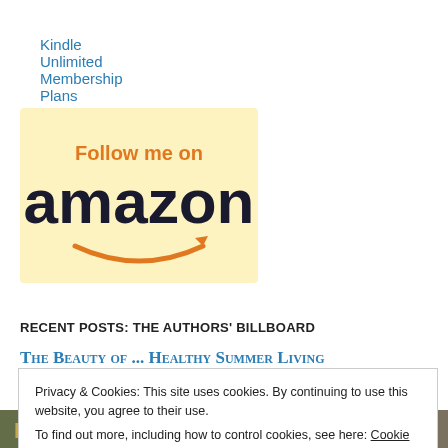Kindle Unlimited Membership Plans
[Figure (logo): Follow me on Amazon badge — cream/yellow background with orange 'Follow me on' text and large dark 'amazon' logotype with orange smile/arrow underneath]
RECENT POSTS: THE AUTHORS' BILLBOARD
The Beauty of ... Healthy Summer Living
Privacy & Cookies: This site uses cookies. By continuing to use this website, you agree to their use.
To find out more, including how to control cookies, see here: Cookie Policy
[Close and accept button]
[Figure (photo): Bottom strip showing partial text 'RIVIERA' and other partial magazine/sign logos in a colorful collage]